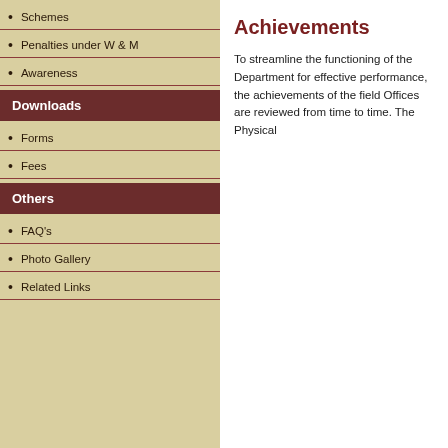Schemes
Penalties under W & M
Awareness
Downloads
Forms
Fees
Others
FAQ's
Photo Gallery
Related Links
Achievements
To streamline the functioning of the Department for effective performance, the achievements of the field Offices are reviewed from time to time. The Physical